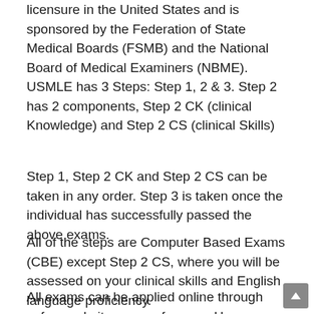licensure in the United States and is sponsored by the Federation of State Medical Boards (FSMB) and the National Board of Medical Examiners (NBME).
USMLE has 3 Steps: Step 1, 2 & 3. Step 2 has 2 components, Step 2 CK (clinical Knowledge) and Step 2 CS (clinical Skills)
Step 1, Step 2 CK and Step 2 CS can be taken in any order. Step 3 is taken once the individual has successfully passed the above exams.
All of the steps are Computer Based Exams (CBE) except Step 2 CS, where you will be assessed on your clinical skills and English language proficiency.
All exams can be applied online through ecfmg website www.ecfmg.org. However, you have to access the